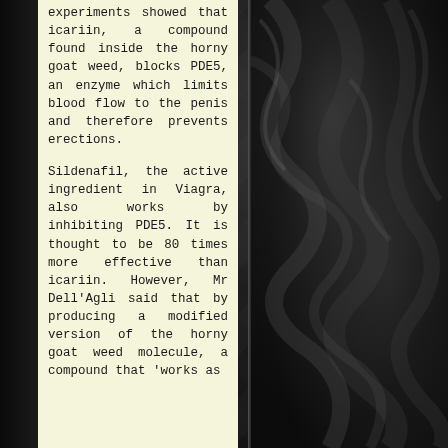experiments showed that icariin, a compound found inside the horny goat weed, blocks PDE5, an enzyme which limits blood flow to the penis and therefore prevents erections.
Sildenafil, the active ingredient in Viagra, also works by inhibiting PDE5. It is thought to be 80 times more effective than icariin. However, Mr Dell'Agli said that by producing a modified version of the horny goat weed molecule, a compound that 'works as
[Figure (photo): Dark background photograph showing black satin or silk fabric with dramatic folds and highlights, occupying the right two-thirds of the page]